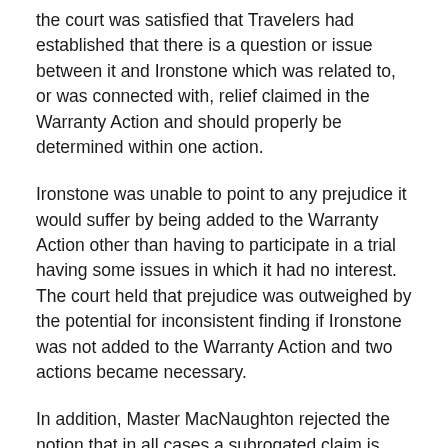the court was satisfied that Travelers had established that there is a question or issue between it and Ironstone which was related to, or was connected with, relief claimed in the Warranty Action and should properly be determined within one action.
Ironstone was unable to point to any prejudice it would suffer by being added to the Warranty Action other than having to participate in a trial having some issues in which it had no interest. The court held that prejudice was outweighed by the potential for inconsistent finding if Ironstone was not added to the Warranty Action and two actions became necessary.
In addition, Master MacNaughton rejected the notion that in all cases a subrogated claim is barred until an insurer has paid under its policy.